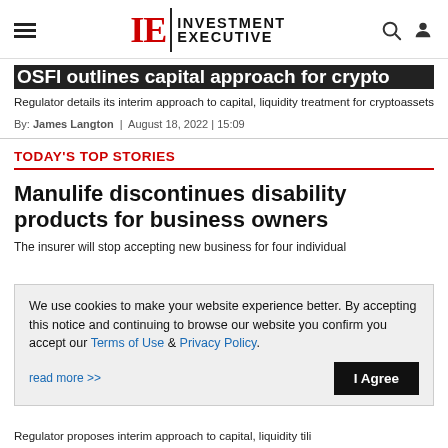Investment Executive
OSFI outlines capital approach for crypto
Regulator details its interim approach to capital, liquidity treatment for cryptoassets
By: James Langton | August 18, 2022 | 15:09
TODAY'S TOP STORIES
Manulife discontinues disability products for business owners
The insurer will stop accepting new business for four individual
We use cookies to make your website experience better. By accepting this notice and continuing to browse our website you confirm you accept our Terms of Use & Privacy Policy. read more >> I Agree
Regulator proposes interim approach to capital, liquidity tili